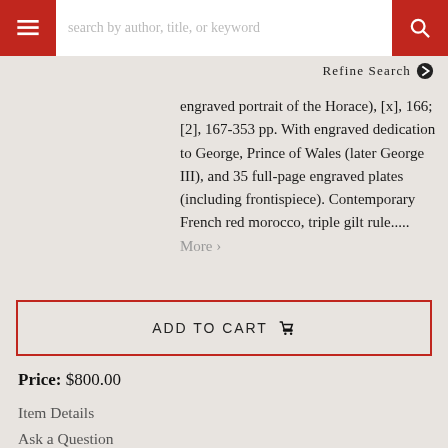[Figure (screenshot): Navigation bar with hamburger menu button (red), search input field with placeholder 'search by author, title, or keyword', and red search button with magnifying glass icon]
Refine Search ❯
engraved portrait of the Horace), [x], 166; [2], 167-353 pp. With engraved dedication to George, Prince of Wales (later George III), and 35 full-page engraved plates (including frontispiece). Contemporary French red morocco, triple gilt rule..... More ❯
ADD TO CART 🛒
Price: $800.00
Item Details
Ask a Question